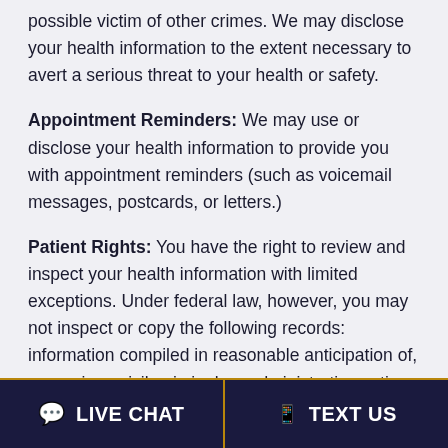possible victim of other crimes. We may disclose your health information to the extent necessary to avert a serious threat to your health or safety.
Appointment Reminders: We may use or disclose your health information to provide you with appointment reminders (such as voicemail messages, postcards, or letters.)
Patient Rights: You have the right to review and inspect your health information with limited exceptions. Under federal law, however, you may not inspect or copy the following records: information compiled in reasonable anticipation of, or use in, a civil, criminal, or administrative action or proceeding; and protected health information that is subject to law that prohibits access to protected health information. You may request that we provide copies in a format other than photocopies. We will use
LIVE CHAT | TEXT US